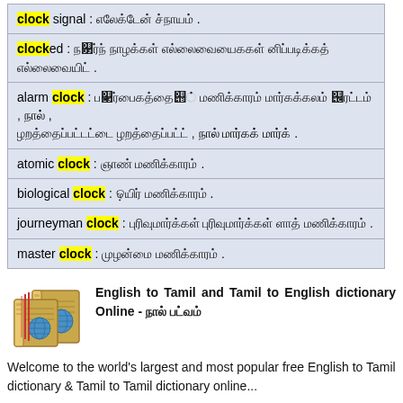| clock signal : [Tamil text] . |
| clocked : [Tamil text] . |
| alarm clock : [Tamil text] . |
| atomic clock : [Tamil text] . |
| biological clock : [Tamil text] . |
| journeyman clock : [Tamil text] . |
| master clock : [Tamil text] . |
[Figure (illustration): Stack of two illustrated books icon representing English to Tamil dictionary]
English to Tamil and Tamil to English dictionary Online - [Tamil text]
Welcome to the world's largest and most popular free English to Tamil dictionary & Tamil to Tamil dictionary online...